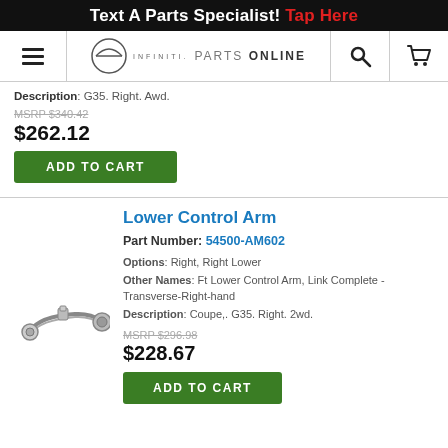Text A Parts Specialist! Tap Here
[Figure (logo): Infiniti Parts Online navigation bar with hamburger menu, Infiniti logo, search icon, and cart icon]
Description: G35. Right. Awd.
MSRP $340.42
$262.12
ADD TO CART
Lower Control Arm
Part Number: 54500-AM602
[Figure (photo): Lower Control Arm part image - a metal automotive control arm component shown in gray/silver]
Options: Right, Right Lower
Other Names: Ft Lower Control Arm, Link Complete - Transverse-Right-hand
Description: Coupe,. G35. Right. 2wd.
MSRP $296.98
$228.67
ADD TO CART